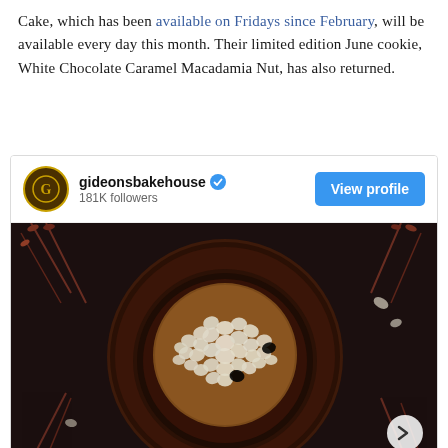Cake, which has been available on Fridays since February, will be available every day this month. Their limited edition June cookie, White Chocolate Caramel Macadamia Nut, has also returned.
[Figure (screenshot): Instagram embed showing gideonsbakehouse account with 181K followers and a View profile button, with a photo of a cookie topped with white chocolate chips in a dark cast iron skillet shot from above on a dark background.]